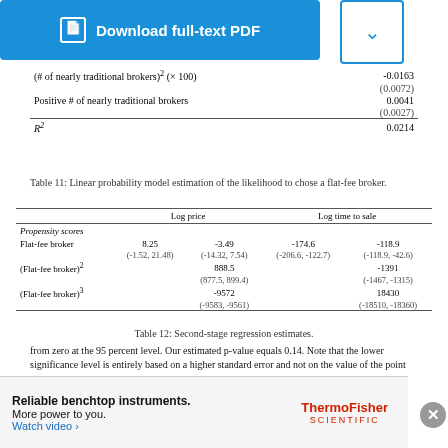[Figure (other): Blue download full-text PDF button and chevron dropdown box]
|  |  |
| --- | --- |
| (# of nearly traditional brokers)² (× 100) | -0.0163 |
|  | (0.0072) |
| Positive # of nearly traditional brokers | 0.0041 |
|  | (0.0027) |
| R² | 0.0214 |
Table 11: Linear probability model estimation of the likelihood to chose a flat-fee broker.
|  | Log price |  | Log time to sale |  |
| --- | --- | --- | --- | --- |
| Propensity scores |  |  |  |  |
| Flat-fee broker | 8.25 | -3.49 | -174.6 | -118.9 |
|  | (-1.52, 21.48) | (-14.32, 7.54) | (-206.6, -122.7) | (-118.9, -42.6) |
| (Flat-fee broker)² |  | 888.5 |  | -1391 |
|  |  | (877.5, 899.4) |  | (-1467, -1315) |
| (Flat-fee broker)³ |  | -9572 |  | 18430 |
|  |  | (-9583, -9561) |  | (-18510, -18360) |
Table 12: Second-stage regression estimates.
from zero at the 95 percent level. Our estimated p-value equals 0.14. Note that the lower significance level is entirely based on a higher standard error and not on the value of the point estimator. Also note that even though it is possible to calculate the analytical asymptotic standard errors for this case, the use of bootstrap methods is well known to have a higher asymptotic accuracy and to be more robust against outliers (see also Young, 2017).
There is a large literature on the use of the instrumental variable